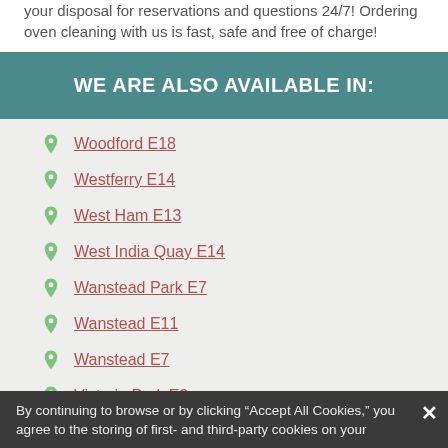your disposal for reservations and questions 24/7! Ordering oven cleaning with us is fast, safe and free of charge!
WE ARE ALSO AVAILABLE IN:
Woodford E18
Westferry E14
West Ham E13
West India Quay E14
Wanstead Park E7
Wanstead E11
Wanstead E7
Victoria Park E9
By continuing to browse or by clicking “Accept All Cookies,” you agree to the storing of first- and third-party cookies on your